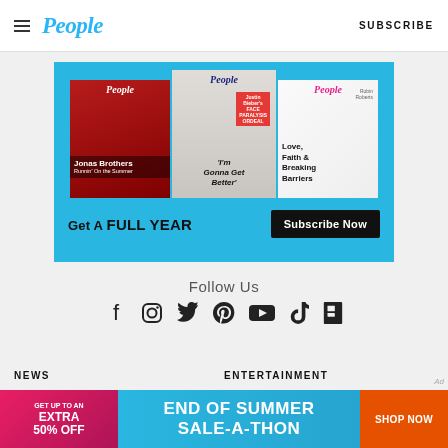People | SUBSCRIBE
[Figure (illustration): People magazine subscription ad banner showing three magazine covers (Jonas Brothers, Justin Bieber 'I'm Gonna Get Better', Robin Roberts 'Love, Faith & Breaking Barriers') on a blue background with text 'Get A FULL YEAR' and 'Subscribe Now' button]
Follow Us
[Figure (illustration): Social media icons row: Facebook, Instagram, Twitter, Pinterest, YouTube, TikTok, Flipboard]
NEWS
ENTERTAINMENT
[Figure (illustration): Bottom banner ad: GET UP TO AN EXTRA 50% OFF | END OF SUMMER SALE-A-THON | SHOP NOW]